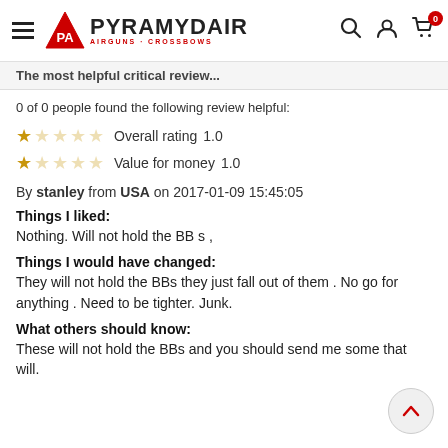Pyramyd Air — Airguns + Crossbows
The most helpful critical review...
0 of 0 people found the following review helpful:
★☆☆☆☆  Overall rating  1.0
★☆☆☆☆  Value for money  1.0
By stanley from USA on 2017-01-09 15:45:05
Things I liked:
Nothing. Will not hold the BB s ,
Things I would have changed:
They will not hold the BBs they just fall out of them . No go for anything . Need to be tighter. Junk.
What others should know:
These will not hold the BBs and you should send me some that will.